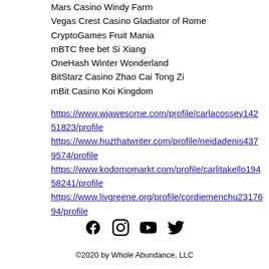Mars Casino Windy Farm
Vegas Crest Casino Gladiator of Rome
CryptoGames Fruit Mania
mBTC free bet Si Xiang
OneHash Winter Wonderland
BitStarz Casino Zhao Cai Tong Zi
mBit Casino Koi Kingdom
https://www.wjawesome.com/profile/carlacossey14251823/profile
https://www.huzthatwriter.com/profile/neidadenis4379574/profile
https://www.kodomomarkt.com/profile/carlitakello19458241/profile
https://www.livgreene.org/profile/cordiemenchu2317694/profile
[Figure (infographic): Social media icons: Facebook, Instagram, YouTube, Twitter]
©2020 by Whole Abundance, LLC